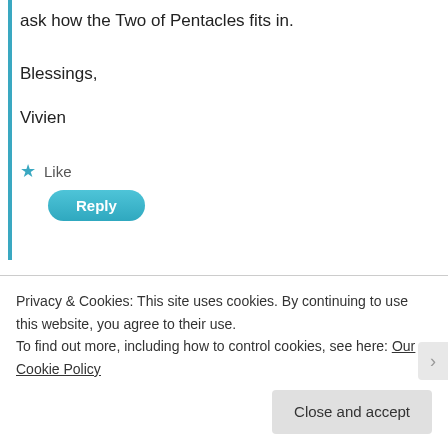ask how the Two of Pentacles fits in.
Blessings,
Vivien
★ Like
Reply
miss tarot teacher
July 26, 2017 at 16:14
Ah just seeing the Two of Pentacles is Reversed.
My oversight. The two of Pentacles reversed
Privacy & Cookies: This site uses cookies. By continuing to use this website, you agree to their use.
To find out more, including how to control cookies, see here: Our Cookie Policy
Close and accept